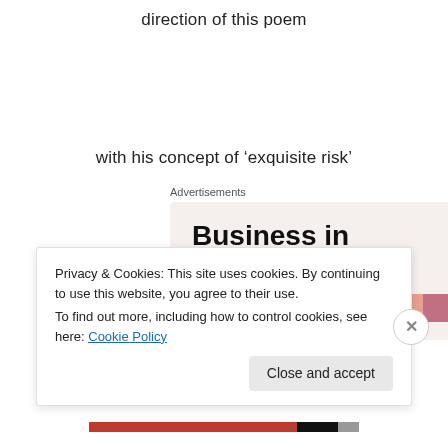direction of this poem
with his concept of ‘exquisite risk’
Advertisements
[Figure (infographic): Advertisement box with text 'Business in the front...' on a beige/tan background with an orange-to-pink color gradient bar below the text.]
Privacy & Cookies: This site uses cookies. By continuing to use this website, you agree to their use.
To find out more, including how to control cookies, see here: Cookie Policy
Close and accept